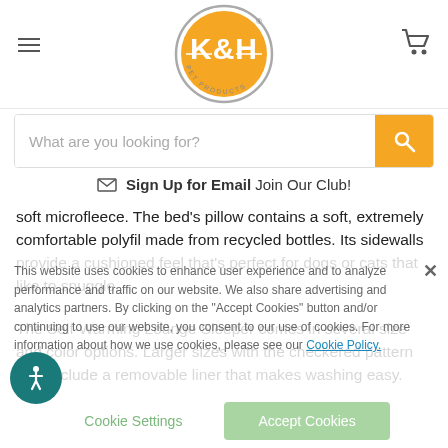[Figure (logo): K&H Pet Products circular logo with orange fill and white K&H text, grey ring with 'PET PRODUCTS' text]
[Figure (other): Hamburger menu icon (three horizontal lines) at top left]
[Figure (other): Shopping cart icon at top right]
What are you looking for?
Sign Up for Email Join Our Club!
soft microfleece. The bed's pillow contains a soft, extremely comfortable polyfil made from recycled bottles. Its sidewalls provide a cushioned feel that's perfect for dogs or cats that like to snuggle.
The Self-Warming Lounge Sleeper comes in several size and color options. Larger sizes with the checkered pattern also include a removable liner that makes washing easy.
This website uses cookies to enhance user experience and to analyze performance and traffic on our website. We also share advertising and analytics partners. By clicking on the "Accept Cookies" button and/or continuing to use our website, you consent to our use of cookies. For more information about how we use cookies, please see our Cookie Policy.
Cookie Settings
Accept Cookies